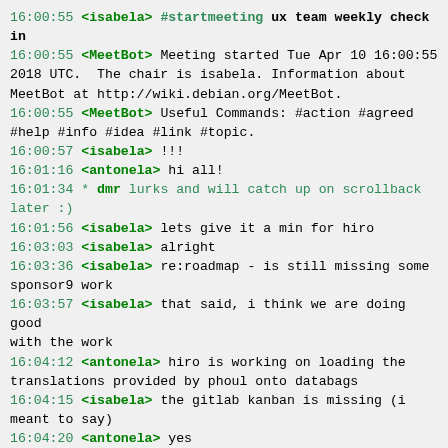16:00:55 <isabela> #startmeeting ux team weekly check in
16:00:55 <MeetBot> Meeting started Tue Apr 10 16:00:55 2018 UTC.  The chair is isabela. Information about MeetBot at http://wiki.debian.org/MeetBot.
16:00:55 <MeetBot> Useful Commands: #action #agreed #help #info #idea #link #topic.
16:00:57 <isabela> !!!
16:01:16 <antonela> hi all!
16:01:34 * dmr lurks and will catch up on scrollback later :)
16:01:56 <isabela> lets give it a min for hiro
16:03:03 <isabela> alright
16:03:36 <isabela> re:roadmap - is still missing some sponsor9 work
16:03:57 <isabela> that said, i think we are doing good with the work
16:04:12 <antonela> hiro is working on loading the translations provided by phoul onto databags
16:04:15 <isabela> the gitlab kanban is missing (i meant to say)
16:04:20 <antonela> yes
16:04:25 <isabela> k
16:04:31 <hiro> yes
16:04:38 <hiro> and loading all the languages in search
16:04:46 <hiro> so that we can have a full test with all the languages
16:05:16 <isabela> sweet
16:05:20 <isabela> oi hiro o/
16:05:28 <hiro> hi :)